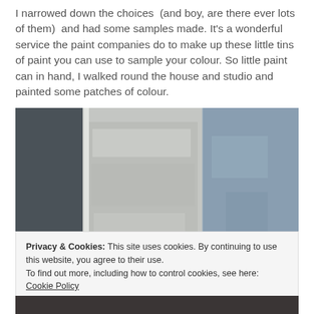I narrowed down the choices  (and boy, are there ever lots of them)  and had some samples made. It's a wonderful service the paint companies do to make up these little tins of paint you can use to sample your colour. So little paint can in hand, I walked round the house and studio and painted some patches of colour.
[Figure (photo): Close-up photo of three paint colour samples applied to a rough textured wall surface: dark grey on the left, light grey/white in the centre, and a medium blue-grey on the right.]
Privacy & Cookies: This site uses cookies. By continuing to use this website, you agree to their use.
To find out more, including how to control cookies, see here: Cookie Policy
Close and accept
[Figure (photo): Partial view of another photo at the bottom of the page, showing a dark-toned image, mostly cut off.]